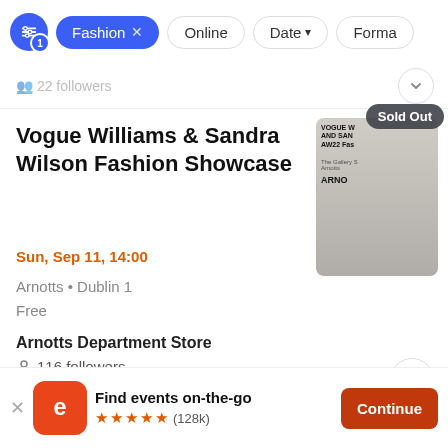[Figure (screenshot): App filter bar with filter icon badge, active Fashion pill, Online pill, Date dropdown, and Format pill (cut off)]
22 followers
Vogue Williams & Sandra Wilson Fashion Showcase
Sun, Sep 11, 14:00
Arnotts • Dublin 1
Free
[Figure (photo): Event promotional image showing a woman in a wide-brimmed white hat and sunglasses, with text VOGUE W AND SAN AW22 Fas, The Gallery S Arnotts, ARNO. Sold Out badge overlaid top-right.]
Arnotts Department Store
116 followers
Find events on-the-go
★★★★★ (128k)
Continue